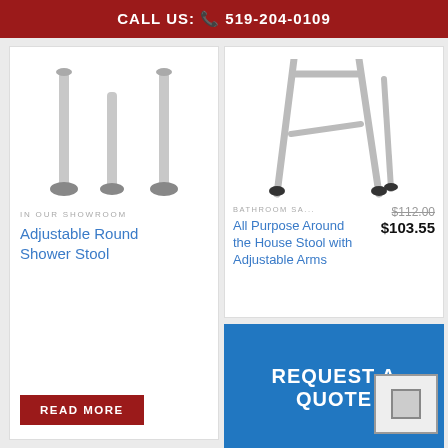CALL US: 519-204-0109
IN OUR SHOWROOM
Adjustable Round Shower Stool
READ MORE
BATHROOM SA...
$112.00
$103.55
All Purpose Around the House Stool with Adjustable Arms
REQUEST A QUOTE